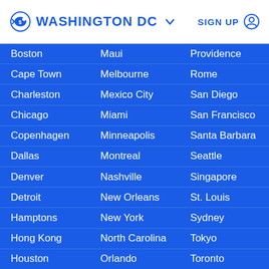WASHINGTON DC  SIGN UP
Boston
Maui
Providence
Cape Town
Melbourne
Rome
Charleston
Mexico City
San Diego
Chicago
Miami
San Francisco
Copenhagen
Minneapolis
Santa Barbara
Dallas
Montreal
Seattle
Denver
Nashville
Singapore
Detroit
New Orleans
St. Louis
Hamptons
New York
Sydney
Hong Kong
North Carolina
Tokyo
Houston
Orlando
Toronto